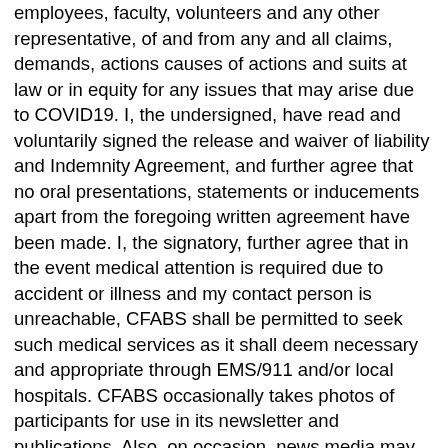employees, faculty, volunteers and any other representative, of and from any and all claims, demands, actions causes of actions and suits at law or in equity for any issues that may arise due to COVID19. I, the undersigned, have read and voluntarily signed the release and waiver of liability and Indemnity Agreement, and further agree that no oral presentations, statements or inducements apart from the foregoing written agreement have been made. I, the signatory, further agree that in the event medical attention is required due to accident or illness and my contact person is unreachable, CFABS shall be permitted to seek such medical services as it shall deem necessary and appropriate through EMS/911 and/or local hospitals. CFABS occasionally takes photos of participants for use in its newsletter and publications. Also, on occasion, news media may visit our facilities in covering CFABS events. By signing this form, I acknowledge awareness that photographs may be taken at times for promotional or news coverage purposes. I understand that photos taken by Centers for the Arts become property of CFABS and may be used in promotional materials now and/or in the